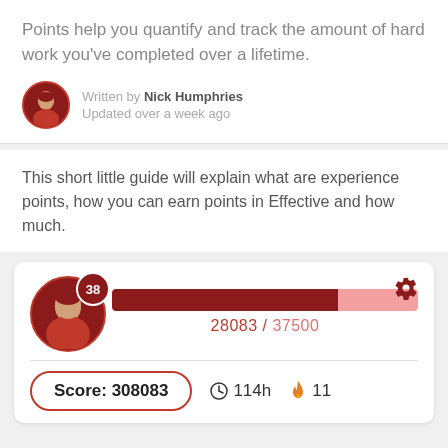Points help you quantify and track the amount of hard work you've completed over a lifetime.
Written by Nick Humphries
Updated over a week ago
This short little guide will explain what are experience points, how you can earn points in Effective and how much.
[Figure (screenshot): User profile card showing level 38 badge, progress bar with 28083/37500 points, score of 308083, 114h time, and 11 streak flame]